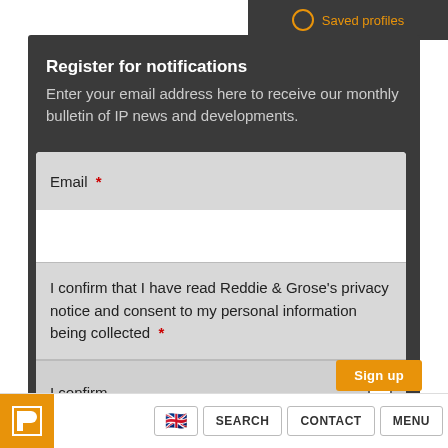Saved profiles
Register for notifications
Enter your email address here to receive our monthly bulletin of IP news and developments.
Email *
I confirm that I have read Reddie & Grose's privacy notice and consent to my personal information being collected *
I confirm
Sign up
SEARCH  CONTACT  MENU